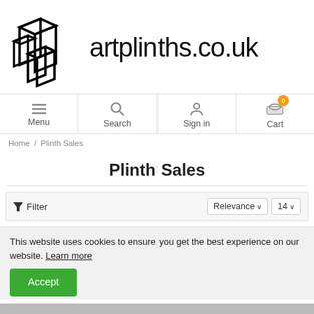[Figure (logo): artplinths.co.uk logo with geometric plinth shapes on the left and text on the right]
Menu | Search | Sign in | Cart
Home / Plinth Sales
Plinth Sales
Filter  Relevance  14
This website uses cookies to ensure you get the best experience on our website. Learn more
Accept